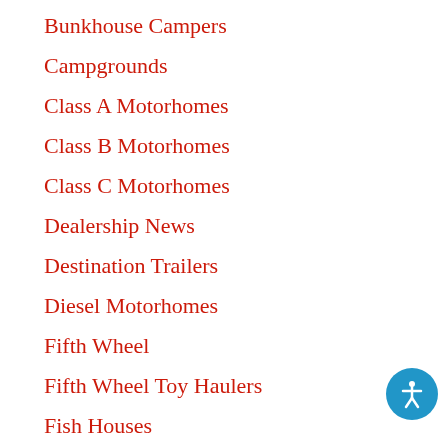Bunkhouse Campers
Campgrounds
Class A Motorhomes
Class B Motorhomes
Class C Motorhomes
Dealership News
Destination Trailers
Diesel Motorhomes
Fifth Wheel
Fifth Wheel Toy Haulers
Fish Houses
Folding Campers
Forest River
Grand Design RVs